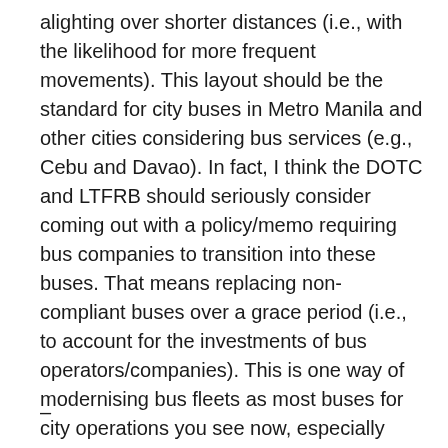alighting over shorter distances (i.e., with the likelihood for more frequent movements). This layout should be the standard for city buses in Metro Manila and other cities considering bus services (e.g., Cebu and Davao). In fact, I think the DOTC and LTFRB should seriously consider coming out with a policy/memo requiring bus companies to transition into these buses. That means replacing non-compliant buses over a grace period (i.e., to account for the investments of bus operators/companies). This is one way of modernising bus fleets as most buses for city operations you see now, especially along EDSA, are configured for long distance (provincial?) trips with their narrow aisles and maximising the number of seats as well as the baggage compartments at the buses' bellies.
–